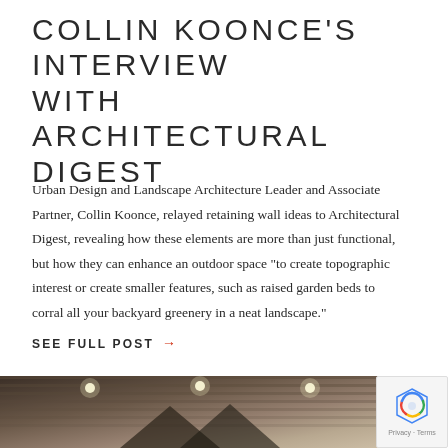COLLIN KOONCE'S INTERVIEW WITH ARCHITECTURAL DIGEST
Urban Design and Landscape Architecture Leader and Associate Partner, Collin Koonce, relayed retaining wall ideas to Architectural Digest, revealing how these elements are more than just functional, but how they can enhance an outdoor space "to create topographic interest or create smaller features, such as raised garden beds to corral all your backyard greenery in a neat landscape."
SEE FULL POST →
[Figure (photo): Partial view of an interior architectural photograph showing a ceiling with linear wooden slats and recessed lighting, with geometric angular forms visible.]